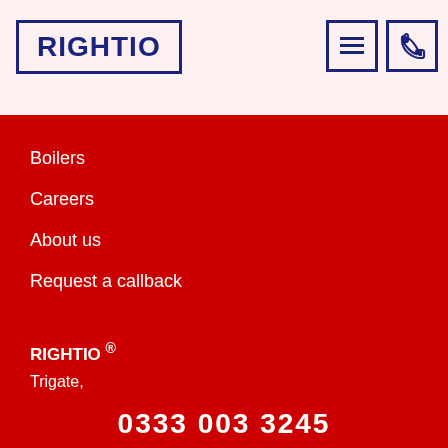[Figure (logo): Rightio company logo in dark navy blue text inside a rectangular border]
[Figure (other): Hamburger menu icon button in dark navy border]
[Figure (other): Phone handset icon button in dark navy border]
Boilers
Careers
About us
Request a callback
RIGHTIO ®
Trigate,
210 – 222 Hagley Road West,
Oldbury, B68 0NP.
Registration No.:
12523871
0333 003 3245